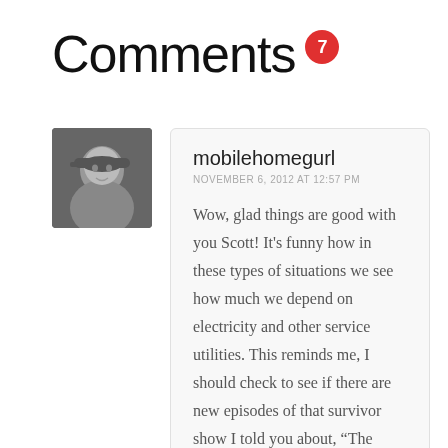Comments 7
[Figure (photo): Black and white photo of a woman wearing a cap, smiling]
mobilehomegurl
NOVEMBER 6, 2012 AT 12:57 PM
Wow, glad things are good with you Scott! It's funny how in these types of situations we see how much we depend on electricity and other service utilities. This reminds me, I should check to see if there are new episodes of that survivor show I told you about, “The Colony!”